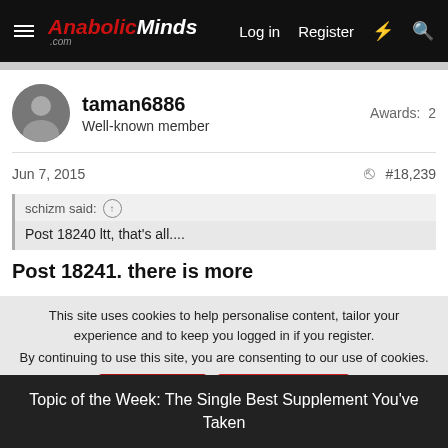AnabolicMinds.com  Log in  Register
taman6886
Well-known member
Awards: 2
Jun 7, 2015  #18,239
schizm said:
Post 18240 ltt, that's all....
Post 18241. there is more
This site uses cookies to help personalise content, tailor your experience and to keep you logged in if you register.
By continuing to use this site, you are consenting to our use of cookies.
Topic of the Week: The Single Best Supplement You've Taken